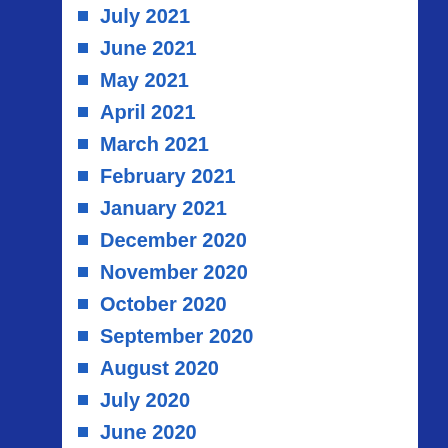July 2021
June 2021
May 2021
April 2021
March 2021
February 2021
January 2021
December 2020
November 2020
October 2020
September 2020
August 2020
July 2020
June 2020
May 2020
April 2020
March 2020
February 2020
January 2020
December 2019
November 2019
October 2019